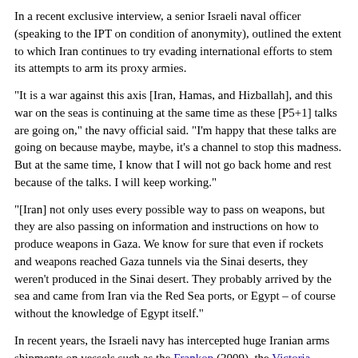In a recent exclusive interview, a senior Israeli naval officer (speaking to the IPT on condition of anonymity), outlined the extent to which Iran continues to try evading international efforts to stem its attempts to arm its proxy armies.
"It is a war against this axis [Iran, Hamas, and Hizballah], and this war on the seas is continuing at the same time as these [P5+1] talks are going on," the navy official said. "I'm happy that these talks are going on because maybe, maybe, it's a channel to stop this madness. But at the same time, I know that I will not go back home and rest because of the talks. I will keep working."
"[Iran] not only uses every possible way to pass on weapons, but they are also passing on information and instructions on how to produce weapons in Gaza. We know for sure that even if rockets and weapons reached Gaza tunnels via the Sinai deserts, they weren't produced in the Sinai desert. They probably arrived by the sea and came from Iran via the Red Sea ports, or Egypt – of course without the knowledge of Egypt itself."
In recent years, the Israeli navy has intercepted huge Iranian arms shipments on vessels such as the Frankop (2009), the Victoria (2011), and earlier this year the Klos-C, whose cache of M-302 missiles, mortars, and masses of ammunition were hidden under its legitimate cement cargo.